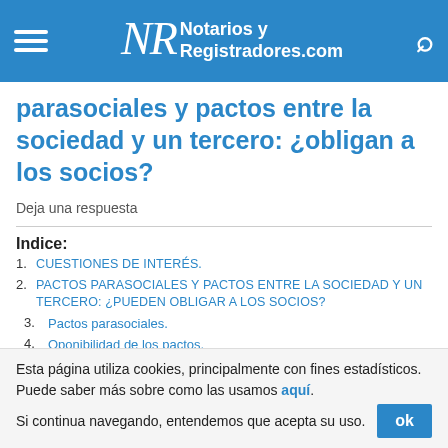Notarios y Registradores.com
parasociales y pactos entre la sociedad y un tercero: ¿obligan a los socios?
Deja una respuesta
Indice:
1. CUESTIONES DE INTERÉS.
2. PACTOS PARASOCIALES Y PACTOS ENTRE LA SOCIEDAD Y UN TERCERO: ¿PUEDEN OBLIGAR A LOS SOCIOS?
3. Pactos parasociales.
4. Oponibilidad de los pactos.
5. Pactos entre la sociedad y un tercero.
6. Resolución de la DG...
Esta página utiliza cookies, principalmente con fines estadísticos. Puede saber más sobre como las usamos aquí. Si continua navegando, entendemos que acepta su uso.